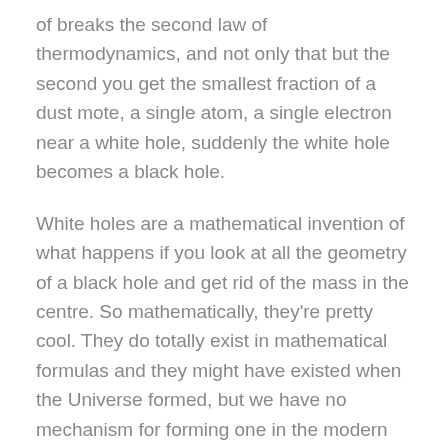of breaks the second law of thermodynamics, and not only that but the second you get the smallest fraction of a dust mote, a single atom, a single electron near a white hole, suddenly the white hole becomes a black hole.
White holes are a mathematical invention of what happens if you look at all the geometry of a black hole and get rid of the mass in the centre. So mathematically, they're pretty cool. They do totally exist in mathematical formulas and they might have existed when the Universe formed, but we have no mechanism for forming one in the modern Universe. You can't collapse a star and get something with no mass in the centre. Even if any were created during the formation of the Universe, in the 13.7 Â± 0.2 Billion years since then, it's safe